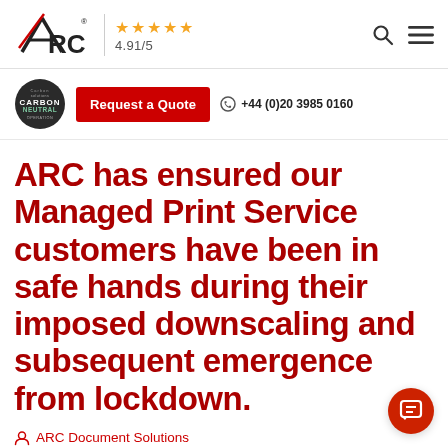ARC logo | 4.91/5 stars rating | Search | Menu
Carbon Neutral | Request a Quote | +44 (0)20 3985 0160
ARC has ensured our Managed Print Service customers have been in safe hands during their imposed downscaling and subsequent emergence from lockdown.
ARC Document Solutions
[Figure (logo): ARC logo preview in content card]